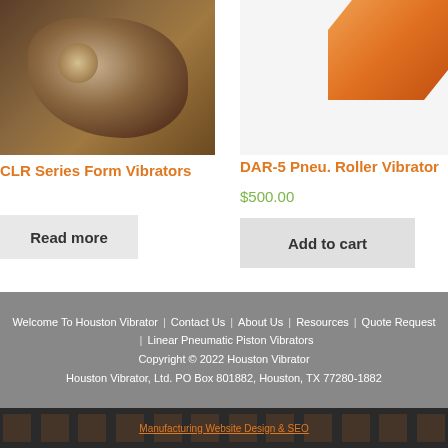[Figure (photo): Product photo of CLR Series Form Vibrators - mechanical vibrator device on brown/metallic background]
CLR Series Form Vibrators
Read more
[Figure (photo): Product photo of DAR-5 Pneumatic Roller Vibrator - orange device shown partially]
DAR-5 Pneu. Roller Vibrator
$500.00
Add to cart
Welcome To Houston Vibrator | Contact Us | About Us | Resources | Quote Request | Linear Pneumatic Piston Vibrators
Copyright © 2022 Houston Vibrator
Houston Vibrator, Ltd. PO Box 801882, Houston, TX 77280-1882
Manufacturing Website Design & SEO